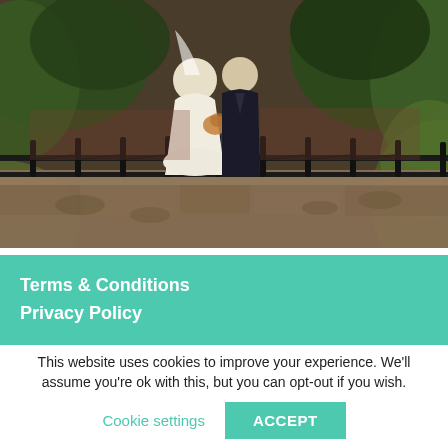[Figure (photo): Wedding photo of a bride in a white dress and groom in a dark suit standing on a stone bridge with iron railings, surrounded by lush garden greenery.]
Terms & Conditions
Privacy Policy
This website uses cookies to improve your experience. We'll assume you're ok with this, but you can opt-out if you wish.
Cookie settings   ACCEPT